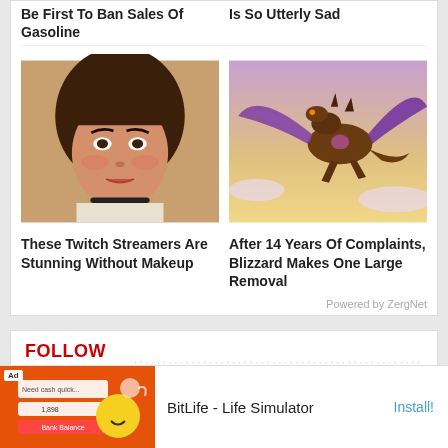Be First To Ban Sales Of Gasoline
Is So Utterly Sad
[Figure (photo): Close-up photo of a young woman with brown hair, dramatic eye makeup, freckles, and a choker necklace]
These Twitch Streamers Are Stunning Without Makeup
[Figure (photo): 3D rendered image of a large purple and brown dragon flying against a golden sky with clouds]
After 14 Years Of Complaints, Blizzard Makes One Large Removal
Powered by ZergNet
FOLLOW US
[Figure (screenshot): BitLife - Life Simulator app advertisement with orange background, Ad label, and app icon]